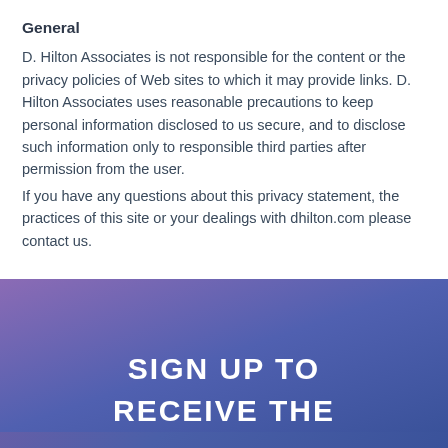General
D. Hilton Associates is not responsible for the content or the privacy policies of Web sites to which it may provide links. D. Hilton Associates uses reasonable precautions to keep personal information disclosed to us secure, and to disclose such information only to responsible third parties after permission from the user.
If you have any questions about this privacy statement, the practices of this site or your dealings with dhilton.com please contact us.
[Figure (other): Purple-blue gradient banner with white bold text reading 'SIGN UP TO RECEIVE THE']